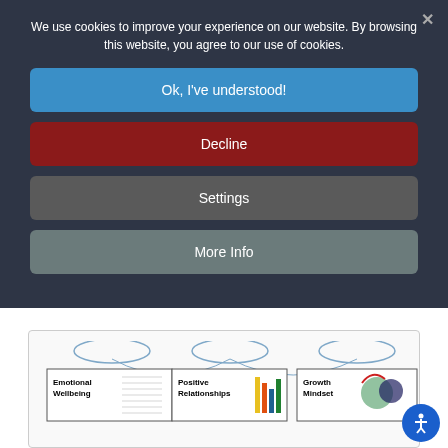We use cookies to improve your experience on our website. By browsing this website, you agree to our use of cookies.
Ok, I've understood!
Decline
Settings
More Info
[Figure (infographic): Diagram showing three boxes: Emotional Wellbeing, Positive Relationships, Growth Mindset, each with associated icons and connected by arched lines]
So in practice, and as the above model reflects, this means th... within each classroom, an observer will see children moving...